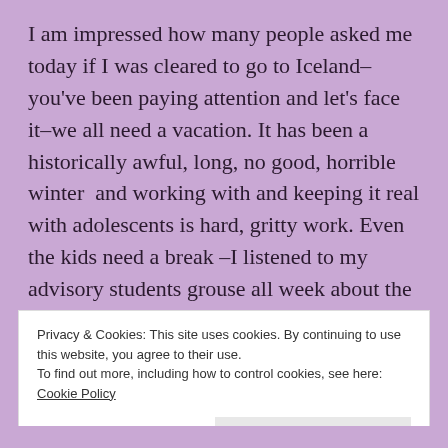I am impressed how many people asked me today if I was cleared to go to Iceland–you've been paying attention and let's face it–we all need a vacation. It has been a historically awful, long, no good, horrible winter  and working with and keeping it real with adolescents is hard, gritty work. Even the kids need a break –I listened to my advisory students grouse all week about the mountains of tests, papers and work they had before clearing out. This morning the kids came together in community, commiserated and then were off, scattered to different ends of the globe until we reconvene at 9:30 a week from
Privacy & Cookies: This site uses cookies. By continuing to use this website, you agree to their use.
To find out more, including how to control cookies, see here: Cookie Policy
Close and accept